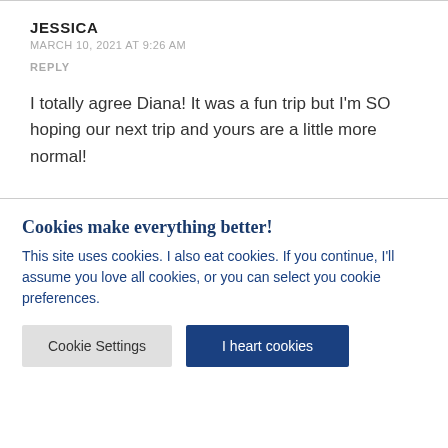JESSICA
MARCH 10, 2021 AT 9:26 AM
REPLY
I totally agree Diana! It was a fun trip but I'm SO hoping our next trip and yours are a little more normal!
Cookies make everything better!
This site uses cookies. I also eat cookies. If you continue, I'll assume you love all cookies, or you can select you cookie preferences.
Cookie Settings
I heart cookies